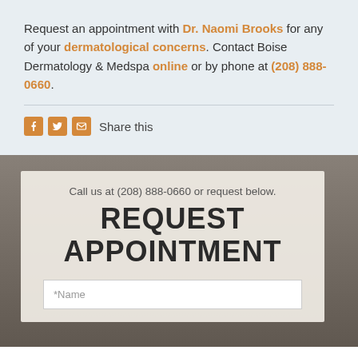Request an appointment with Dr. Naomi Brooks for any of your dermatological concerns. Contact Boise Dermatology & Medspa online or by phone at (208) 888-0660.
Share this
Call us at (208) 888-0660 or request below.
REQUEST APPOINTMENT
*Name